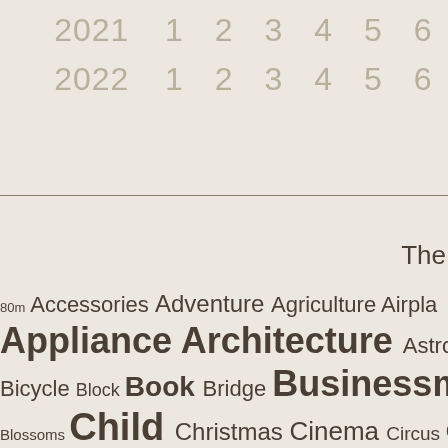2021   1   2   3   4   5   6
2022   1   2   3   4   5   6
The
80m Accessories Adventure Agriculture Airplane Appliance Architecture Astronaut Attraction Bicycle Block Book Bridge Businessman Button Ca Blossoms Child Christmas Cinema Circus City C Cosmetics Couple Creature Cup Daily Ne